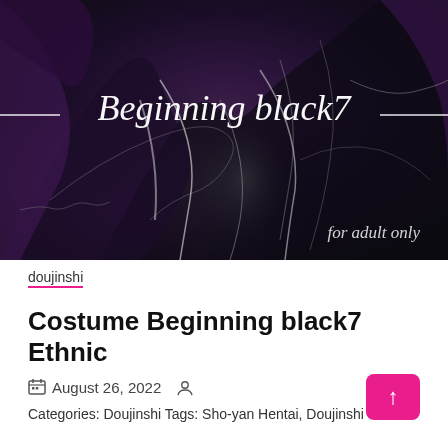[Figure (illustration): Dark manga/doujinshi cover art with purple and black tones showing an anime character in a glossy black outfit. Title 'Beginning black7' in white italic script with horizontal lines on either side. Text 'for adult only' in italic at bottom right.]
doujinshi
Costume Beginning black7 Ethnic
August 26, 2022
Categories: Doujinshi Tags: Sho-yan Hentai, Doujinshi